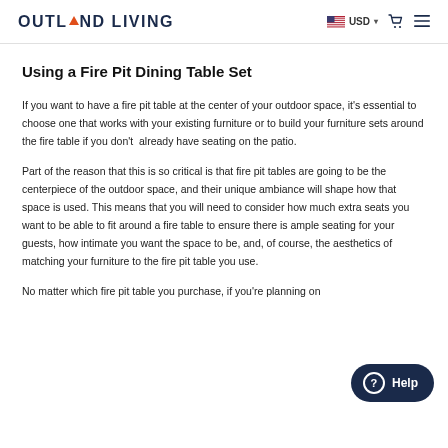OUTLAND LIVING  USD ☰
Using a Fire Pit Dining Table Set
If you want to have a fire pit table at the center of your outdoor space, it's essential to choose one that works with your existing furniture or to build your furniture sets around the fire table if you don't already have seating on the patio.
Part of the reason that this is so critical is that fire pit tables are going to be the centerpiece of the outdoor space, and their unique ambiance will shape how that space is used. This means that you will need to consider how much extra seats you want to be able to fit around a fire table to ensure there is ample seating for your guests, how intimate you want the space to be, and, of course, the aesthetics of matching your furniture to the fire pit table you use.
No matter which fire pit table you purchase, if you're planning on